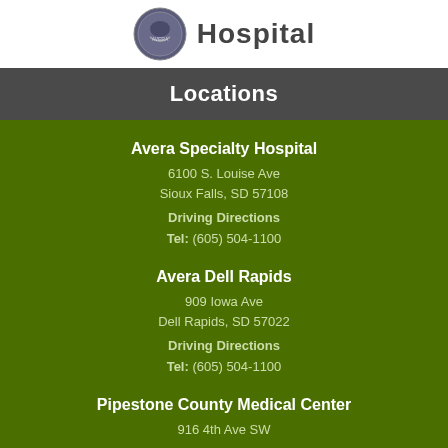Hospital
Locations
Avera Specialty Hospital
6100 S. Louise Ave
Sioux Falls, SD 57108
Driving Directions
Tel: (605) 504-1100
Avera Dell Rapids
909 Iowa Ave
Dell Rapids, SD 57022
Driving Directions
Tel: (605) 504-1100
Pipestone County Medical Center
916 4th Ave SW